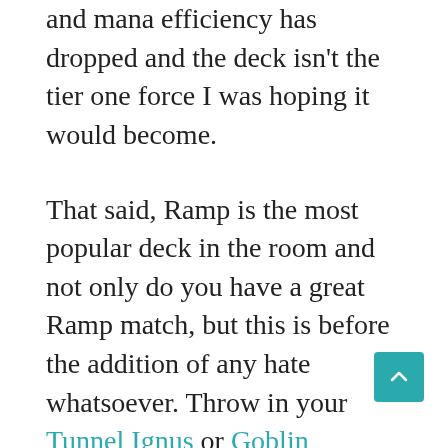and mana efficiency has dropped and the deck isn't the tier one force I was hoping it would become.
That said, Ramp is the most popular deck in the room and not only do you have a great Ramp match, but this is before the addition of any hate whatsoever. Throw in your Tunnel Ignus or Goblin Bushwhacker/Devastating Summons combos into the sideboard and watch them openly weep as they slam a Wurmcoil Engine down in snide triumph, only to eat a